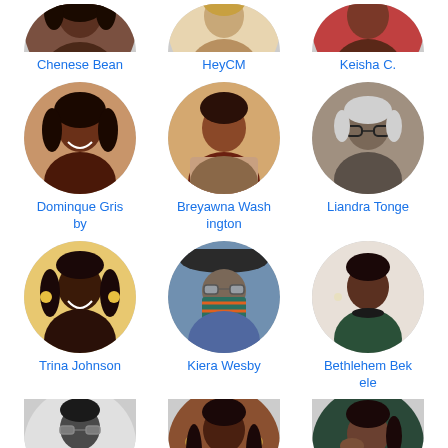[Figure (photo): Grid of circular profile photos with names. Row 1 (partial): Chenese Bean, HeyCM, Keisha C. Row 2: Dominque Grisby, Breyawna Washington, Liandra Tonge. Row 3: Trina Johnson, Kiera Wesby, Bethlehem Bekele. Row 4 (partial, no names visible): three more profile photos.]
Chenese Bean
HeyCM
Keisha C.
Dominque Grisby
Breyawna Washington
Liandra Tonge
Trina Johnson
Kiera Wesby
Bethlehem Bekele